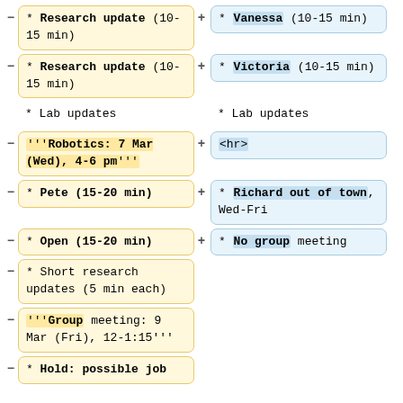- * Research update (10-15 min) | + * Vanessa (10-15 min)
- * Research update (10-15 min) | + * Victoria (10-15 min)
* Lab updates | * Lab updates
- '''Robotics: 7 Mar (Wed), 4-6 pm''' | + <hr>
- * Pete (15-20 min) | + * Richard out of town, Wed-Fri
- * Open (15-20 min) | + * No group meeting
- * Short research updates (5 min each)
- '''Group meeting: 9 Mar (Fri), 12-1:15'''
- * Hold: possible job talk